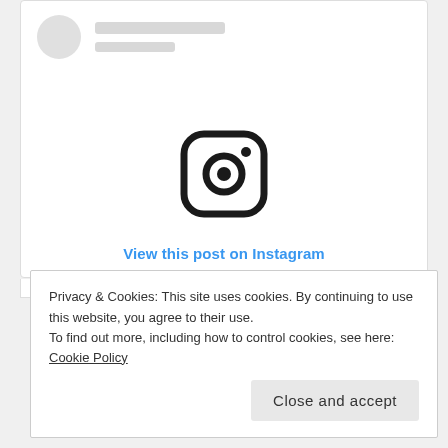[Figure (screenshot): Instagram embed card with circular avatar placeholder, two grey placeholder lines for username, large Instagram camera logo icon in the center, and a blue 'View this post on Instagram' link below the icon]
View this post on Instagram
Privacy & Cookies: This site uses cookies. By continuing to use this website, you agree to their use.
To find out more, including how to control cookies, see here: Cookie Policy
Close and accept